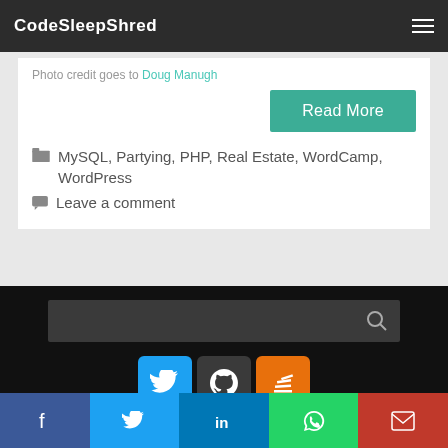CodeSleepShred
Photo credit goes to Doug Manugh
Read More
MySQL, Partying, PHP, Real Estate, WordCamp, WordPress
Leave a comment
[Figure (screenshot): Search bar with magnifying glass icon in dark background]
[Figure (infographic): Social media icons: Twitter (blue), GitHub (dark), Stack Overflow (orange)]
[Figure (infographic): Share bar with Facebook, Twitter, LinkedIn, WhatsApp, Email buttons]